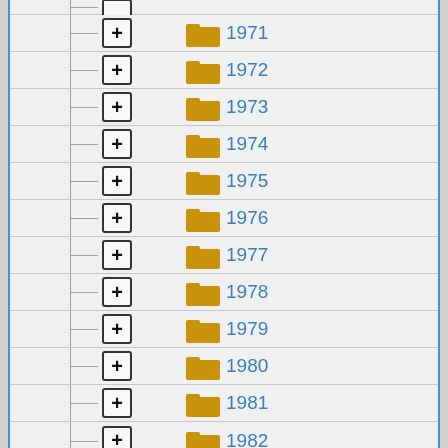1971
1972
1973
1974
1975
1976
1977
1978
1979
1980
1981
1982